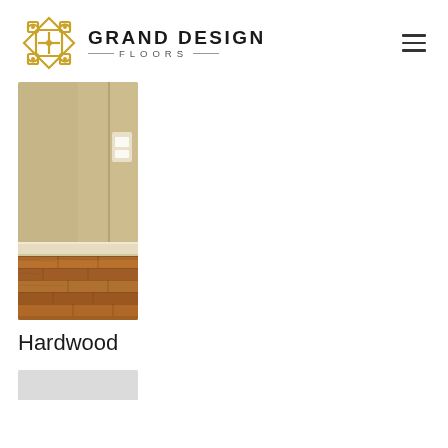[Figure (logo): Grand Design Floors logo with geometric gold diamond pattern icon and bold text]
[Figure (photo): Photo of a room corner showing warm tan/beige painted walls and warm brown hardwood plank flooring with white baseboard trim]
Hardwood
[Figure (photo): Partially visible photo at bottom of page showing light gray surface, likely another flooring type]